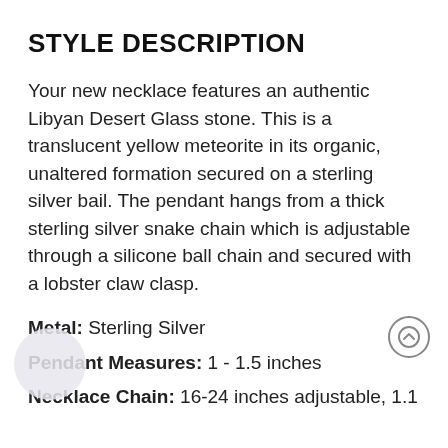STYLE DESCRIPTION
Your new necklace features an authentic Libyan Desert Glass stone. This is a translucent yellow meteorite in its organic, unaltered formation secured on a sterling silver bail. The pendant hangs from a thick sterling silver snake chain which is adjustable through a silicone ball chain and secured with a lobster claw clasp.
Metal: Sterling Silver
Pendant Measures: 1 - 1.5 inches
Necklace Chain: 16-24 inches adjustable, 1.1